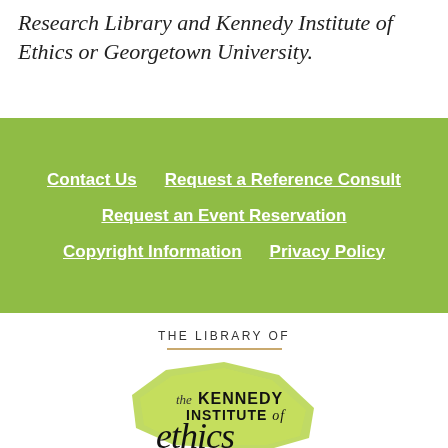Research Library and Kennedy Institute of Ethics or Georgetown University.
Contact Us
Request a Reference Consult
Request an Event Reservation
Copyright Information
Privacy Policy
THE LIBRARY OF
[Figure (logo): The Kennedy Institute of Ethics library logo — a yellow-green organic polygon shape with text 'the KENNEDY INSTITUTE of ethics' overlaid.]